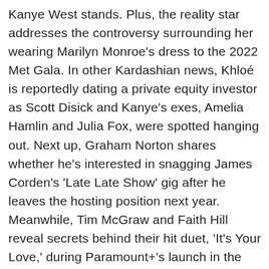Kanye West stands. Plus, the reality star addresses the controversy surrounding her wearing Marilyn Monroe's dress to the 2022 Met Gala. In other Kardashian news, Khloé is reportedly dating a private equity investor as Scott Disick and Kanye's exes, Amelia Hamlin and Julia Fox, were spotted hanging out. Next up, Graham Norton shares whether he's interested in snagging James Corden's 'Late Late Show' gig after he leaves the hosting position next year. Meanwhile, Tim McGraw and Faith Hill reveal secrets behind their hit duet, 'It's Your Love,' during Paramount+'s launch in the UK. At the event, 'Yellowstone' star Kevin Costner teases season 5 of the hit show and what to expect in the Helen Mirren and Harrison Ford-led prequel, '1923.' David Oyelowo, who stars in another 'Yellowstone' spinoff, '1883,' jokes about his wife being part of the fandom for the original series in the franchise. Plus, Sylvester Stallone shares details behind his new Paramount+